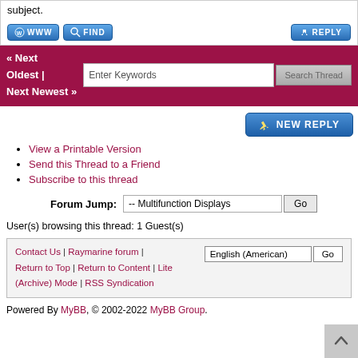subject.
[Figure (screenshot): Button row with WWW, FIND, and REPLY buttons]
[Figure (screenshot): Navigation bar with « Next Oldest | Next Newest » links, keyword search input, and Search Thread button]
[Figure (screenshot): NEW REPLY button]
View a Printable Version
Send this Thread to a Friend
Subscribe to this thread
Forum Jump: -- Multifunction Displays  Go
User(s) browsing this thread: 1 Guest(s)
Contact Us | Raymarine forum | Return to Top | Return to Content | Lite (Archive) Mode | RSS Syndication  English (American)  Go
Powered By MyBB, © 2002-2022 MyBB Group.